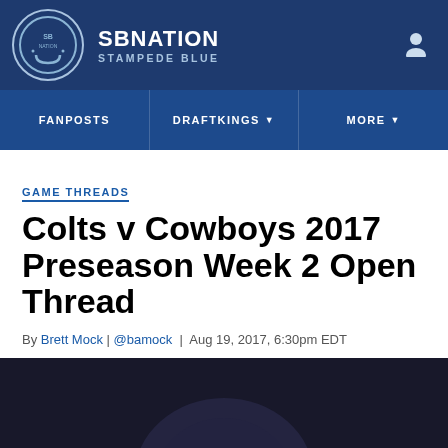SB NATION — STAMPEDE BLUE
GAME THREADS
Colts v Cowboys 2017 Preseason Week 2 Open Thread
By Brett Mock | @bamock | Aug 19, 2017, 6:30pm EDT
[Figure (screenshot): Share bar with Facebook, Twitter, and share icons]
[Figure (photo): Dark background photo at bottom of page, partially visible]